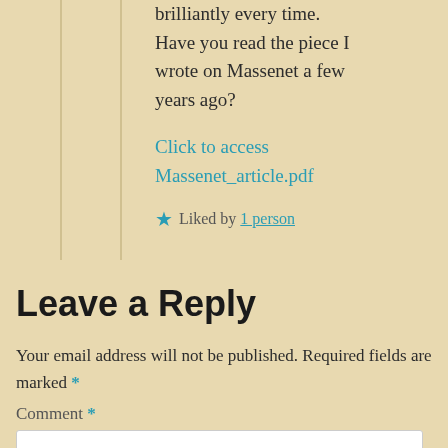brilliantly every time. Have you read the piece I wrote on Massenet a few years ago?
Click to access Massenet_article.pdf
★ Liked by 1 person
Leave a Reply
Your email address will not be published. Required fields are marked *
Comment *